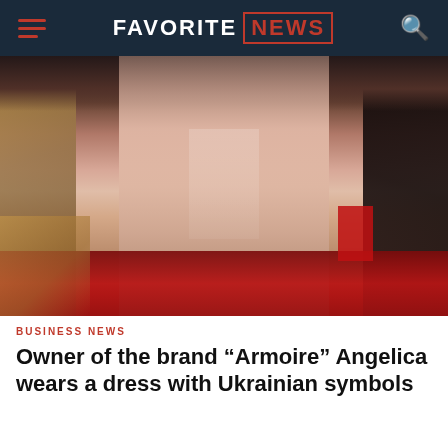FAVORITE NEWS
[Figure (photo): A person wearing a sheer/beaded dress with Ukrainian embroidery symbols at what appears to be a red carpet event, surrounded by crowd in background]
BUSINESS NEWS
Owner of the brand “Armoire” Angelica wears a dress with Ukrainian symbols